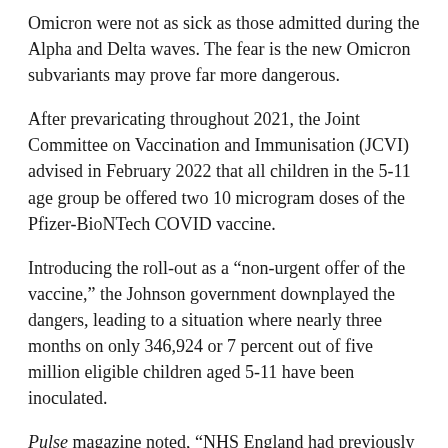Omicron were not as sick as those admitted during the Alpha and Delta waves. The fear is the new Omicron subvariants may prove far more dangerous.
After prevaricating throughout 2021, the Joint Committee on Vaccination and Immunisation (JCVI) advised in February 2022 that all children in the 5-11 age group be offered two 10 microgram doses of the Pfizer-BioNTech COVID vaccine.
Introducing the roll-out as a “non-urgent offer of the vaccine,” the Johnson government downplayed the dangers, leading to a situation where nearly three months on only 346,924 or 7 percent out of five million eligible children aged 5-11 have been inoculated.
Pulse magazine noted, “NHS England had previously said that primary care networks (PCNs) would not be expected to lead on the vaccine rollout for five to 11 year olds…